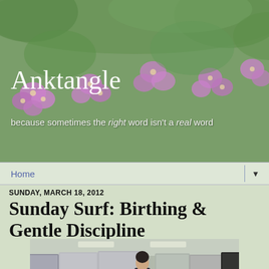Anktangle
because sometimes the right word isn't a real word
Home
SUNDAY, MARCH 18, 2012
Sunday Surf: Birthing & Gentle Discipline
[Figure (photo): A person standing in a store aisle among rows of stainless steel refrigerators, examining the appliances.]